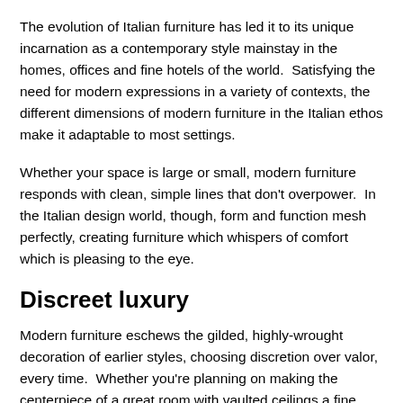The evolution of Italian furniture has led it to its unique incarnation as a contemporary style mainstay in the homes, offices and fine hotels of the world.  Satisfying the need for modern expressions in a variety of contexts, the different dimensions of modern furniture in the Italian ethos make it adaptable to most settings.
Whether your space is large or small, modern furniture responds with clean, simple lines that don’t overpower.  In the Italian design world, though, form and function mesh perfectly, creating furniture which whispers of comfort which is pleasing to the eye.
Discreet luxury
Modern furniture eschews the gilded, highly-wrought decoration of earlier styles, choosing discretion over valor, every time.  Whether you’re planning on making the centerpiece of a great room with vaulted ceilings a fine leather sectional, or you need a love seat to compliment your small but elegant pied-a-terre, modern furniture offers furniture for all spaces.